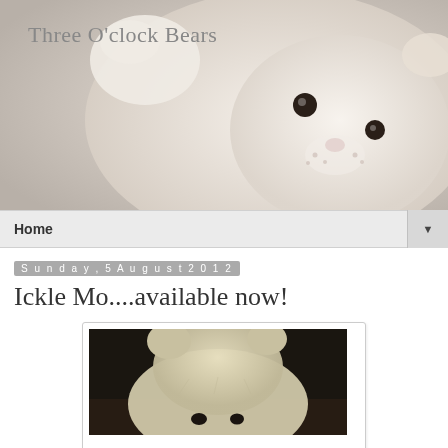Three O'clock Bears
[Figure (photo): White fluffy stuffed bear/cat toy lying on its back against a pale beige background, showing its face with dark eyes and pink nose]
Home
Sunday, 5 August 2012
Ickle Mo....available now!
[Figure (photo): Close-up photo of a cream/white fluffy teddy bear against a dark background, showing the top and front of the bear's head and body]